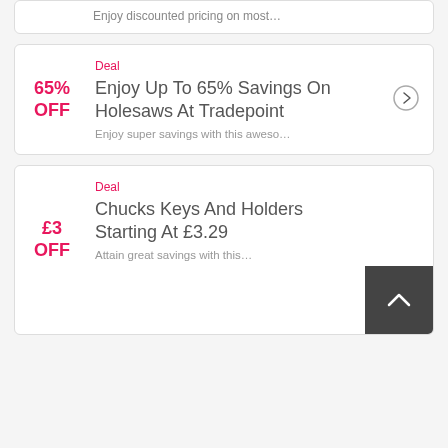Enjoy discounted pricing on most…
Deal
65% OFF
Enjoy Up To 65% Savings On Holesaws At Tradepoint
Enjoy super savings with this aweso…
Deal
£3 OFF
Chucks Keys And Holders Starting At £3.29
Attain great savings with this…